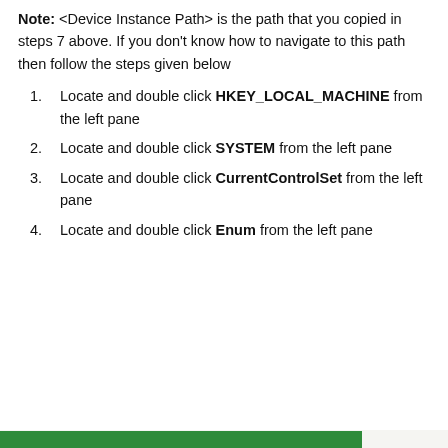Note: <Device Instance Path> is the path that you copied in steps 7 above. If you don't know how to navigate to this path then follow the steps given below
Locate and double click HKEY_LOCAL_MACHINE from the left pane
Locate and double click SYSTEM from the left pane
Locate and double click CurrentControlSet from the left pane
Locate and double click Enum from the left pane